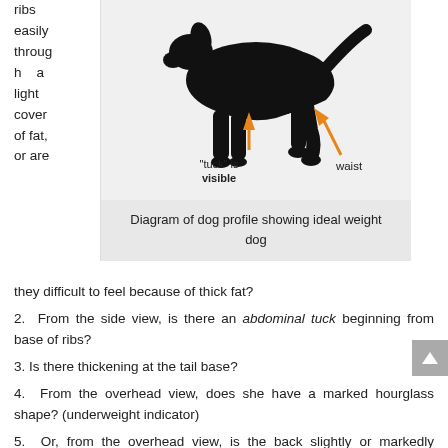ribs easily through a light cover of fat, or are
[Figure (illustration): Diagram of a dog silhouette (side profile) showing ideal weight, with orange arrows pointing to 'tuck is visible' and 'waist' areas]
Diagram of dog profile showing ideal weight dog
they difficult to feel because of thick fat?
2. From the side view, is there an abdominal tuck beginning from base of ribs?
3. Is there thickening at the tail base?
4. From the overhead view, does she have a marked hourglass shape? (underweight indicator)
5. Or, from the overhead view, is the back slightly or markedly broadened at the waist? (overweight indicator)